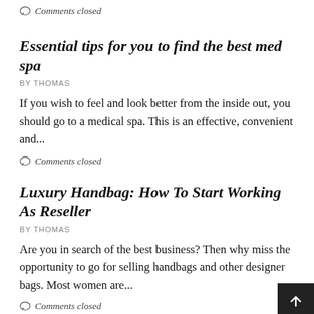Comments closed
Essential tips for you to find the best med spa
BY THOMAS
If you wish to feel and look better from the inside out, you should go to a medical spa. This is an effective, convenient and...
Comments closed
Luxury Handbag: How To Start Working As Reseller
BY THOMAS
Are you in search of the best business? Then why miss the opportunity to go for selling handbags and other designer bags. Most women are...
Comments closed